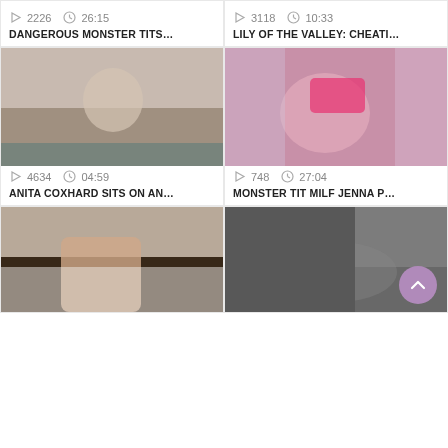[Figure (screenshot): Video thumbnail grid - top row partial cards showing play count 2226, duration 26:15, title DANGEROUS MONSTER TITS...]
2226  26:15
DANGEROUS MONSTER TITS...
3118  10:33
LILY OF THE VALLEY: CHEATI...
[Figure (photo): Adult video thumbnail 1]
4634  04:59
ANITA COXHARD SITS ON AN...
[Figure (photo): Adult video thumbnail 2 - woman in pink bikini]
748  27:04
MONSTER TIT MILF JENNA P...
[Figure (photo): Adult video thumbnail 3 - bottom left]
[Figure (photo): Adult video thumbnail 4 - bottom right]